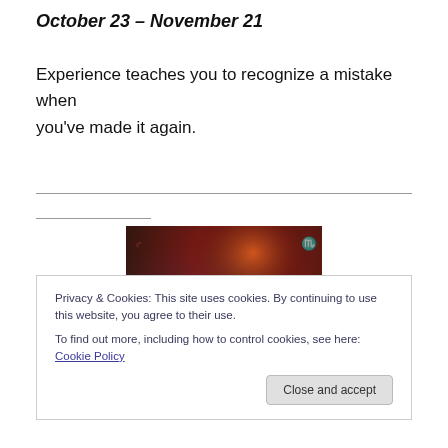October 23 – November 21
Experience teaches you to recognize a mistake when you've made it again.
[Figure (illustration): Painting of a dark archer figure drawing a bow against a red and dark dramatic background]
Privacy & Cookies: This site uses cookies. By continuing to use this website, you agree to their use.
To find out more, including how to control cookies, see here: Cookie Policy
Close and accept